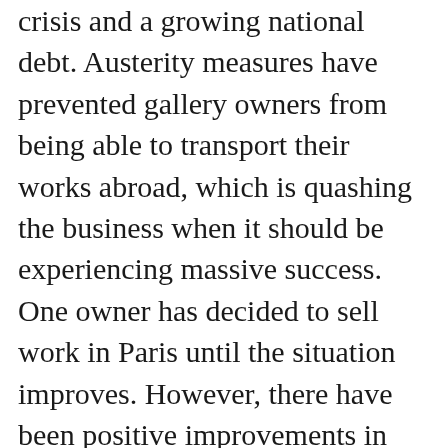crisis and a growing national debt. Austerity measures have prevented gallery owners from being able to transport their works abroad, which is quashing the business when it should be experiencing massive success. One owner has decided to sell work in Paris until the situation improves. However, there have been positive improvements in the country's art sphere. One art dealer explained that since there is no ability to reap large economic returns, artists have more freedom to create what they want instead of pleasing the market. At the Beirut art fair earlier this month, five dealers sold out their booths entirely. The founder claims that the art fair has not been affected by the economic crisis